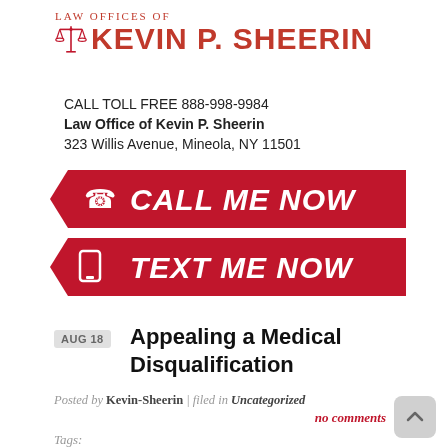[Figure (logo): Law Offices of Kevin P. Sheerin logo with scales of justice icon in red]
CALL TOLL FREE 888-998-9984
Law Office of Kevin P. Sheerin
323 Willis Avenue, Mineola, NY 11501
[Figure (infographic): Red ribbon button with phone icon and text CALL ME NOW]
[Figure (infographic): Red ribbon button with mobile phone icon and text TEXT ME NOW]
AUG 18
Appealing a Medical Disqualification
Posted by Kevin-Sheerin | filed in Uncategorized
no comments
Tags: